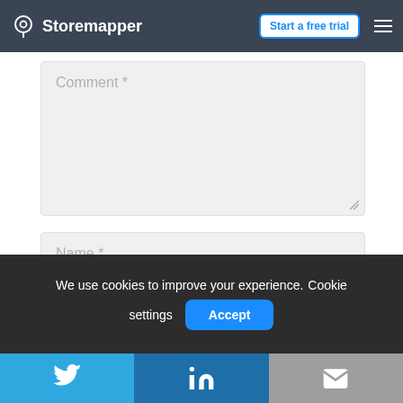Storemapper | Start a free trial
[Figure (screenshot): Comment textarea input field with placeholder text 'Comment *']
[Figure (screenshot): Name input field with placeholder text 'Name *']
[Figure (screenshot): Email input field with placeholder text 'Email *']
We use cookies to improve your experience. Cookie settings Accept